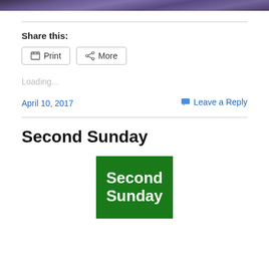[Figure (photo): Top portion of a dark purple/blue textured image, partially visible at top of page]
Share this:
Print   More
Loading...
April 10, 2017
Leave a Reply
Second Sunday
[Figure (illustration): Green square box with white bold text reading 'Second Sunday']